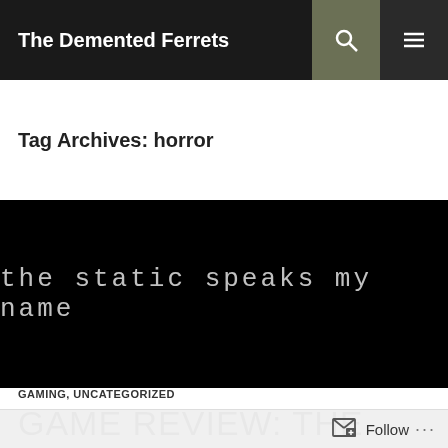The Demented Ferrets
Tag Archives: horror
[Figure (screenshot): Dark black background with light gray text reading 'the static speaks my name' in a thin, spaced-out font]
GAMING, UNCATEGORIZED
GAME REVIEW: THE STATIC SPEAKS MY NAME
Follow